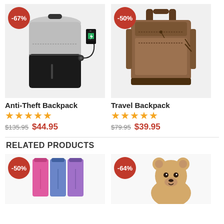[Figure (photo): Anti-Theft Backpack product photo, black and gray, with USB charging port and cable, -67% discount badge]
[Figure (photo): Travel Backpack product photo, brown canvas, -50% discount badge]
Anti-Theft Backpack
★★★★★
$135.95  $44.95
Travel Backpack
★★★★★
$79.95  $39.95
RELATED PRODUCTS
[Figure (photo): Colorful product bags (pink, blue, purple), -50% discount badge]
[Figure (photo): Teddy bear stuffed animal, -64% discount badge]